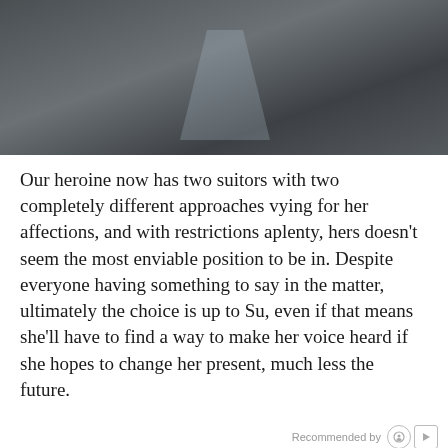[Figure (photo): Dark moody photograph — appears to be a person or figure against a dark grey background with a light triangular shape.]
Our heroine now has two suitors with two completely different approaches vying for her affections, and with restrictions aplenty, hers doesn't seem the most enviable position to be in. Despite everyone having something to say in the matter, ultimately the choice is up to Su, even if that means she'll have to find a way to make her voice heard if she hopes to change her present, much less the future.
Recommended by
[Figure (photo): Photo of a person's hands working at a laptop keyboard and calculator on a desk, business setting.]